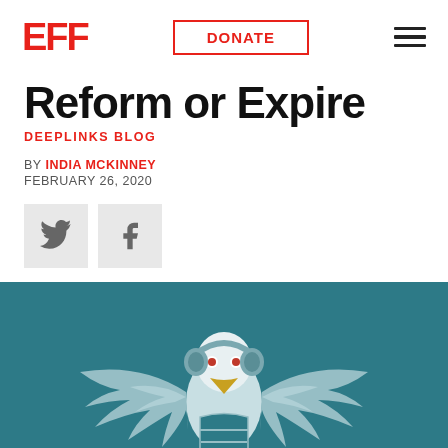EFF | DONATE
Reform or Expire
DEEPLINKS BLOG
BY INDIA MCKINNEY
FEBRUARY 26, 2020
[Figure (illustration): NSA eagle illustration with headphones and red eyes, on teal background with NSA label]
[Figure (logo): EFF logo in red with DONATE button and hamburger menu]